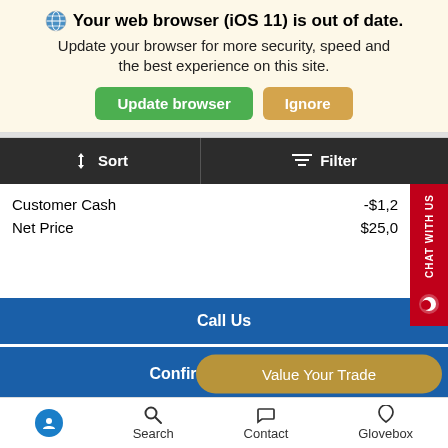Your web browser (iOS 11) is out of date. Update your browser for more security, speed and the best experience on this site.
Update browser | Ignore
Sort | Filter
Customer Cash  -$1,2
Net Price  $25,0
CHAT WITH US
Call Us
Confirm Availability
Value Your Trade
Search  Contact  Glovebox